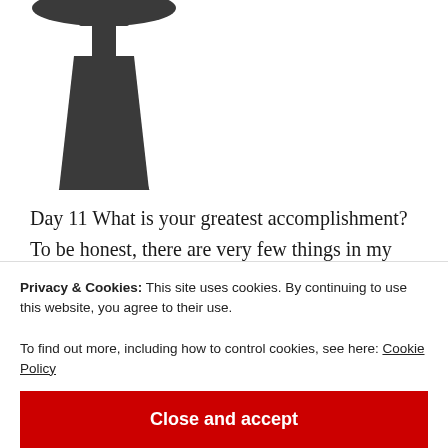[Figure (illustration): A dark silhouette of a person wearing a graduation cap and gown, partially cropped at the top.]
Day 11 What is your greatest accomplishment? To be honest, there are very few things in my life I would consider as accomplishments, because this word I use seldom when talking about myself due to the fact I don't feel as though I have accomplished enough to say I have drastically seen progress in my
Privacy & Cookies: This site uses cookies. By continuing to use this website, you agree to their use.
To find out more, including how to control cookies, see here: Cookie Policy
Close and accept